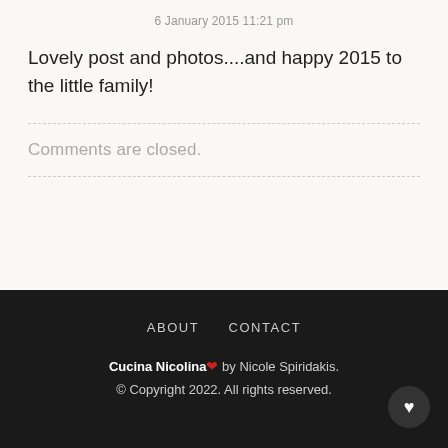6 January 2015 11:21 pm
Lovely post and photos....and happy 2015 to the little family!
Comments are closed.
ABOUT   CONTACT
Cucina Nicolina ♥ by Nicole Spiridakis.
© Copyright 2022. All rights reserved.